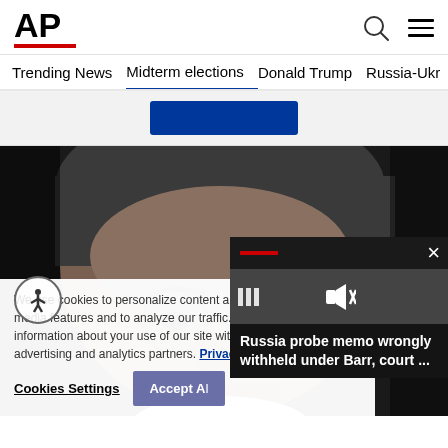AP
Trending News
Midterm elections
Donald Trump
Russia-Ukr
[Figure (photo): Close-up photo of a man wearing round eyeglasses with gray hair]
We use cookies to personalize content and ads, to provide social media features and to analyze our traffic. We also share information about your use of our site with our social media, advertising and analytics partners. Privacy Policy
Cookies Settings  Accept All
Russia probe memo wrongly withheld under Barr, court ...